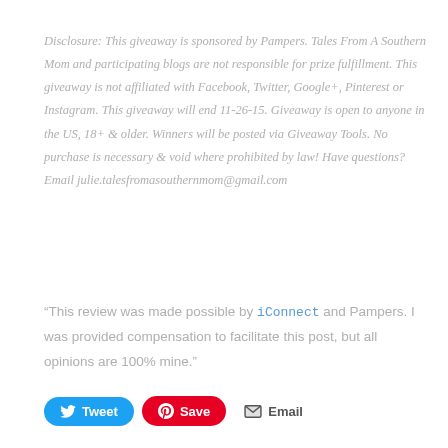Disclosure: This giveaway is sponsored by Pampers. Tales From A Southern Mom and participating blogs are not responsible for prize fulfillment. This giveaway is not affiliated with Facebook, Twitter, Google+, Pinterest or Instagram. This giveaway will end 11-26-15. Giveaway is open to anyone in the US, 18+ & older. Winners will be posted via Giveaway Tools. No purchase is necessary & void where prohibited by law! Have questions? Email julie.talesfromasouthernmom@gmail.com
“This review was made possible by iConnect and Pampers. I was provided compensation to facilitate this post, but all opinions are 100% mine.”
[Figure (other): Social sharing buttons: Tweet (Twitter, blue), Save (Pinterest, red), Email (grey)]